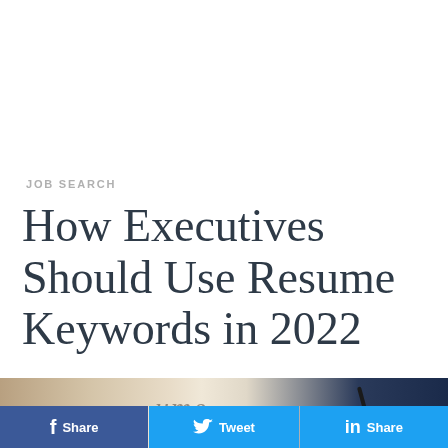JOB SEARCH
How Executives Should Use Resume Keywords in 2022
[Figure (photo): A hand holding a pen over a resume document, with a dark blue background on the right side.]
Share | Tweet | Share